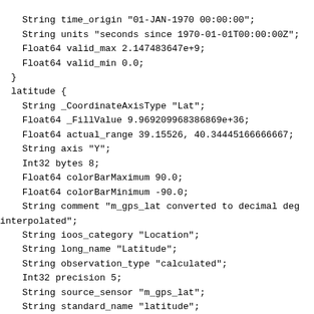String time_origin "01-JAN-1970 00:00:00";
    String units "seconds since 1970-01-01T00:00:00Z";
    Float64 valid_max 2.147483647e+9;
    Float64 valid_min 0.0;
  }
  latitude {
    String _CoordinateAxisType "Lat";
    Float64 _FillValue 9.969209968386869e+36;
    Float64 actual_range 39.15526, 40.34445166666667;
    String axis "Y";
    Int32 bytes 8;
    Float64 colorBarMaximum 90.0;
    Float64 colorBarMinimum -90.0;
    String comment "m_gps_lat converted to decimal deg
interpolated";
    String ioos_category "Location";
    String long_name "Latitude";
    String observation_type "calculated";
    Int32 precision 5;
    String source_sensor "m_gps_lat";
    String standard_name "latitude";
    String units "degrees_north";
    Float64 valid_max 90.0;
    Float64 valid_min -90.0;
  }
  longitude {